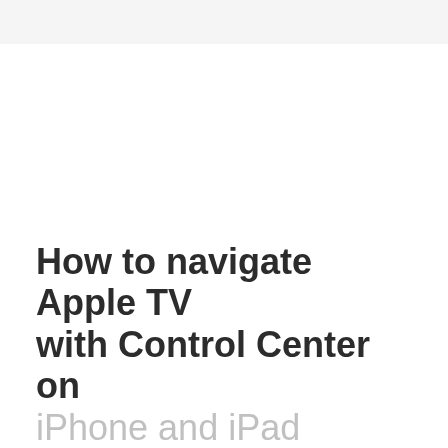How to navigate Apple TV with Control Center on iPhone and iPad